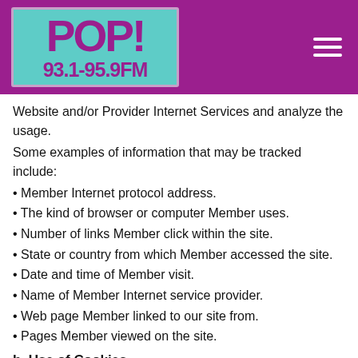[Figure (logo): POP! 93.1-95.9FM radio station logo on teal/turquoise background, purple header bar with hamburger menu icon]
Website and/or Provider Internet Services and analyze the usage.
Some examples of information that may be tracked include:
• Member Internet protocol address.
• The kind of browser or computer Member uses.
• Number of links Member click within the site.
• State or country from which Member accessed the site.
• Date and time of Member visit.
• Name of Member Internet service provider.
• Web page Member linked to our site from.
• Pages Member viewed on the site.
b. Use of Cookies
Provider may use cookies to personalize or enhance Member experience. A cookie is a small text file that is placed on Member's hard disk by a Web page server. Cookies cannot be used to run